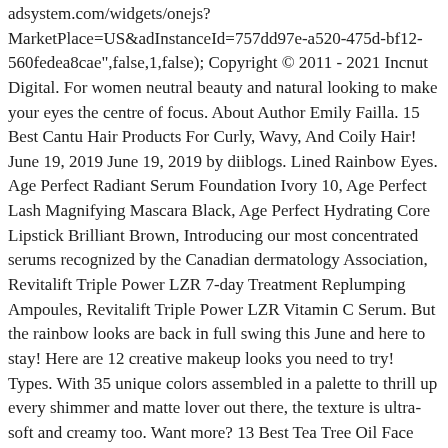adsystem.com/widgets/onejs?MarketPlace=US&adInstanceId=757dd97e-a520-475d-bf12-560fedea8cae",false,1,false); Copyright © 2011 - 2021 Incnut Digital. For women neutral beauty and natural looking to make your eyes the centre of focus. About Author Emily Failla. 15 Best Cantu Hair Products For Curly, Wavy, And Coily Hair! June 19, 2019 June 19, 2019 by diiblogs. Lined Rainbow Eyes. Age Perfect Radiant Serum Foundation Ivory 10, Age Perfect Lash Magnifying Mascara Black, Age Perfect Hydrating Core Lipstick Brilliant Brown, Introducing our most concentrated serums recognized by the Canadian dermatology Association, Revitalift Triple Power LZR 7-day Treatment Replumping Ampoules, Revitalift Triple Power LZR Vitamin C Serum. But the rainbow looks are back in full swing this June and here to stay! Here are 12 creative makeup looks you need to try! Types. With 35 unique colors assembled in a palette to thrill up every shimmer and matte lover out there, the texture is ultra-soft and creamy too. Want more? 13 Best Tea Tree Oil Face Washes To Fight Oiliness And Acne! Tags: rainbow eyeshadow look cut crease, rainbow eyeshadow look james charles palette, rainbow eyeshadow